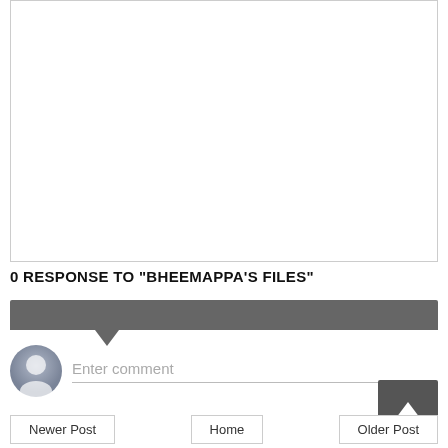[Figure (other): White rectangular content box with border, representing a blog post content area]
0 RESPONSE TO "BHEEMAPPA'S FILES"
[Figure (other): Grey comment section header bar with downward pointing triangle/pointer below it]
Enter comment
Newer Post   Home   Older Post